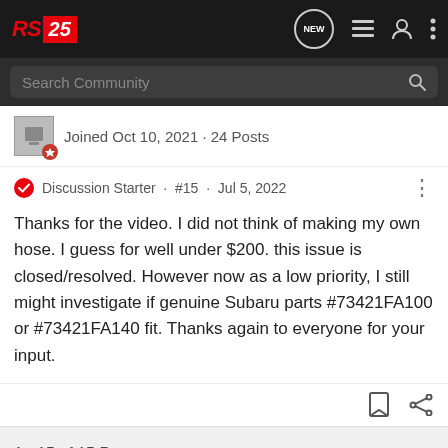RS25 — Navigation bar with logo, search, and icons
Joined Oct 10, 2021 · 24 Posts
Discussion Starter · #15 · Jul 5, 2022
Thanks for the video. I did not think of making my own hose. I guess for well under $200. this issue is closed/resolved. However now as a low priority, I still might investigate if genuine Subaru parts #73421FA100 or #73421FA140 fit. Thanks again to everyone for your input.
1 - 15 of 15 Posts